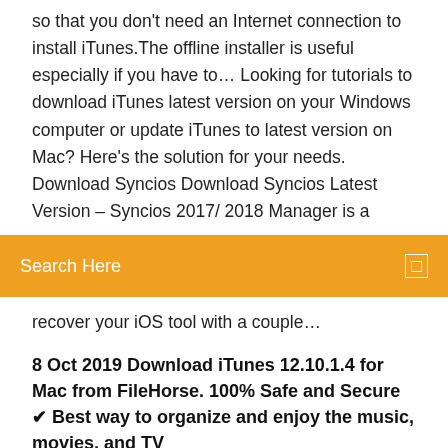so that you don't need an Internet connection to install iTunes. The offline installer is useful especially if you have to… Looking for tutorials to download iTunes latest version on your Windows computer or update iTunes to latest version on Mac? Here's the solution for your needs. Download Syncios Download Syncios Latest Version – Syncios 2017/ 2018 Manager is a
[Figure (screenshot): Orange search bar with 'Search Here' text on left and a small square icon on the right]
recover your iOS tool with a couple…
8 Oct 2019 Download iTunes 12.10.1.4 for Mac from FileHorse. 100% Safe and Secure ✔ Best way to organize and enjoy the music, movies, and TV
13 Sep 2017 Fans of Apple's iTunes may want to hold fire on downloading the latest desktop version of the app for Mac and Windows as version 12.7  25 Jan 2019 Download iTunes for Mac 12.8.2 for Mac. Fast downloads of the latest free software! Click now. Download Older Version of iTunes for Windows and